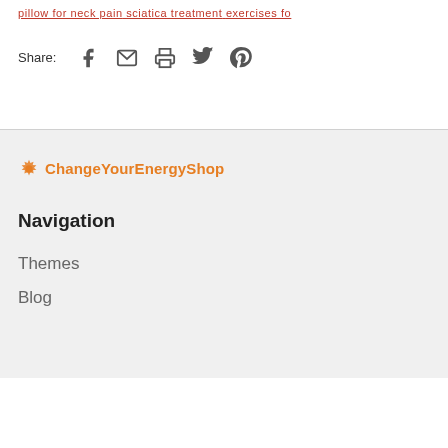pillow for neck pain   sciatica treatment   exercises fo
Share:  [Facebook] [Email] [Print] [Twitter] [Pinterest]
[Figure (logo): ChangeYourEnergyShop logo with orange gear icon and orange text]
Navigation
Themes
Blog